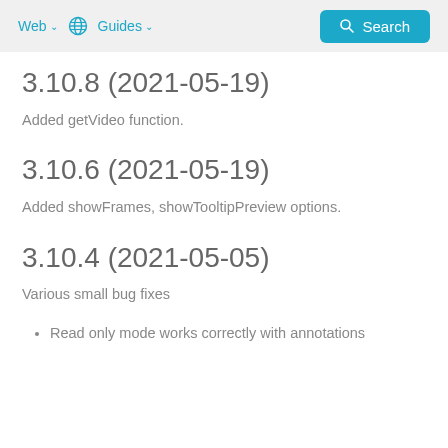Web ∨  🌐  Guides ∨  Search
3.10.8 (2021-05-19)
Added getVideo function.
3.10.6 (2021-05-19)
Added showFrames, showTooltipPreview options.
3.10.4 (2021-05-05)
Various small bug fixes
Read only mode works correctly with annotations